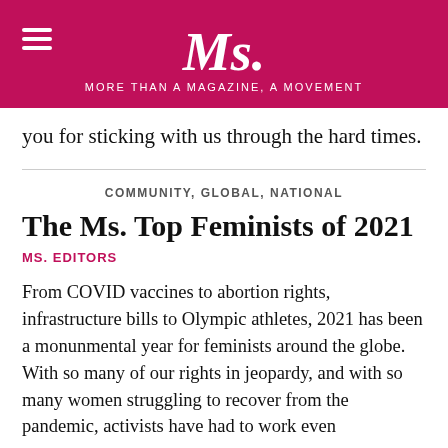Ms. MORE THAN A MAGAZINE, A MOVEMENT
you for sticking with us through the hard times.
COMMUNITY, GLOBAL, NATIONAL
The Ms. Top Feminists of 2021
MS. EDITORS
From COVID vaccines to abortion rights, infrastructure bills to Olympic athletes, 2021 has been a monunmental year for feminists around the globe. With so many of our rights in jeopardy, and with so many women struggling to recover from the pandemic, activists have had to work even